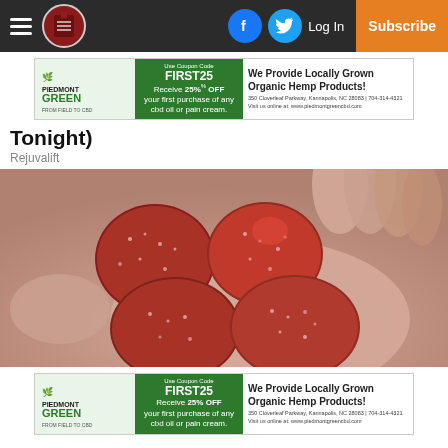Navigation bar with hamburger menu, logo, Facebook icon, Twitter icon, Log In, Subscribe
[Figure (other): Pedmont Green CBD advertisement banner: Use Coupon Code FIRST25, Receive 25% OFF your first purchase of any cbd oil or pain cream. We Provide Locally Grown Organic Hemp Products! 350 Cloverleaf Parkway, Kannapolis, NC 28083 | 704-314-4321 Visit us online at: www.piedmontgreencbd.com]
Tonight)
Rejuvalift
[Figure (photo): Close-up photo of a hand holding several red sugar-coated gummy candies]
[Figure (other): Pedmont Green CBD advertisement banner (bottom repeat): Use Coupon Code FIRST25, Receive 25% OFF your first purchase of any cbd oil or pain cream. We Provide Locally Grown Organic Hemp Products! 350 Cloverleaf Parkway, Kannapolis, NC 28083 | 704-314-4321 Visit us online at: www.piedmontgreencbd.com]